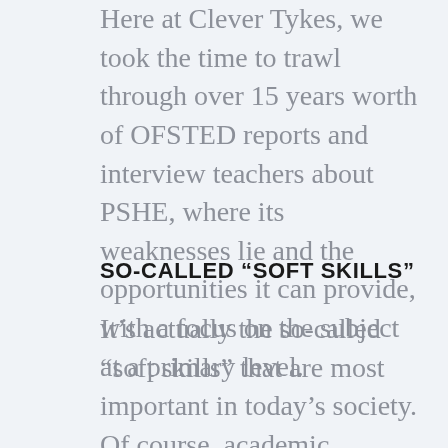Here at Clever Tykes, we took the time to trawl through over 15 years worth of OFSTED reports and interview teachers about PSHE, where its weaknesses lie and the opportunities it can provide, with a focus on the subject at a primary level.
SO-CALLED “SOFT SKILLS”
It’s actually the so-called “soft skills” that are most important in today’s society. Of course, academic attainment is important and, for some careers, it is paramount. However, in